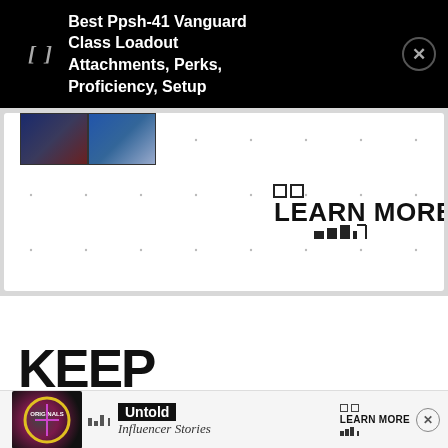[Figure (screenshot): Push notification banner on black background showing bracketed icon and text: Best Ppsh-41 Vanguard Class Loadout Attachments, Perks, Proficiency, Setup with X close button]
[Figure (screenshot): Website ad banner with two dark thumbnail images, dotted grid background, and LEARN MORE button with small squares and bar decoration]
LEARN MORE
KEEP READING
[Figure (screenshot): Bottom advertisement strip showing Originals circular logo, Untold text, Influencer Stories, and LEARN MORE button, with X close button]